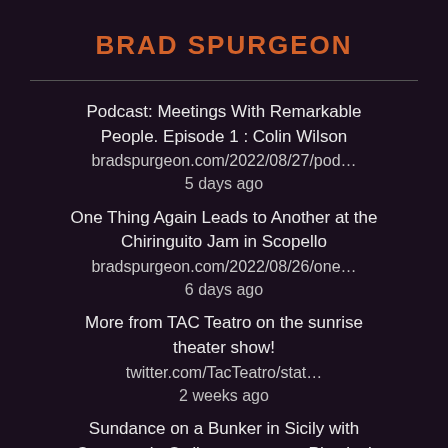BRAD SPURGEON
Podcast: Meetings With Remarkable People. Episode 1 : Colin Wilson
bradspurgeon.com/2022/08/27/pod…
5 days ago
One Thing Again Leads to Another at the Chiringuito Jam in Scopello
bradspurgeon.com/2022/08/26/one…
6 days ago
More from TAC Teatro on the sunrise theater show!
twitter.com/TacTeatro/stat…
2 weeks ago
Sundance on a Bunker in Sicily with Compagnia Ordinesparso – or Physical